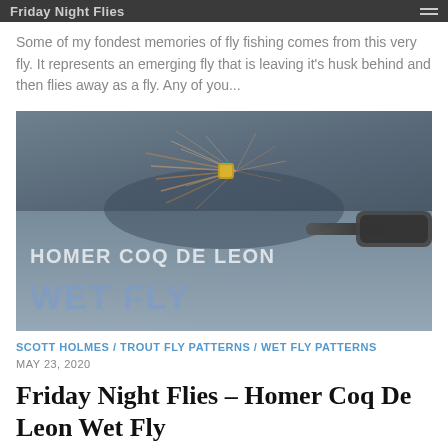Friday Night Flies
Some of my fondest memories of fly fishing comes from this very fly. It represents an emerging fly that is leaving it's husk behind and then flies away as a fly. Any of you...
[Figure (photo): Close-up photo of a Homer Coq De Leon wet fly being held against a person wearing a grey t-shirt. Text overlay reads 'HOMER COQ DE LEON' and 'WET FLY'.]
SCOTT HOLMES / TROUT FLY PATTERNS / WET FLY PATTERNS
MAY 23, 2020
Friday Night Flies – Homer Coq De Leon Wet Fly